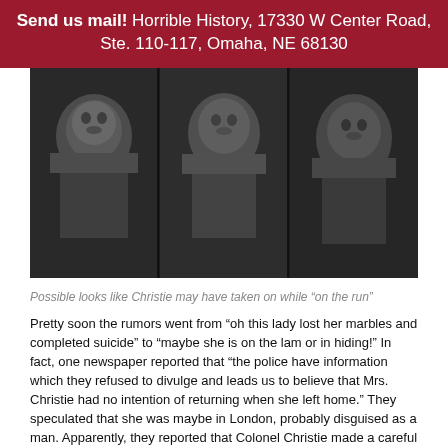Send us mail! Horrible History, 17330 W Center Road, Ste. 110-117, Omaha, NE 68130
[Figure (photo): Three black-and-white portrait photographs of women showing possible disguised looks Christie may have taken on while on the run]
Possible looks like Christie may have taken on while “on the run”
Pretty soon the rumors went from “oh this lady lost her marbles and completed suicide” to “maybe she is on the lam or in hiding!” In fact, one newspaper reported that “the police have information which they refused to divulge and leads us to believe that Mrs. Christie had no intention of returning when she left home.” They speculated that she was maybe in London, probably disguised as a man. Apparently, they reported that Colonel Christie made a careful investigation of his own wardrobe to check to make sure if any of his clothes were missing.